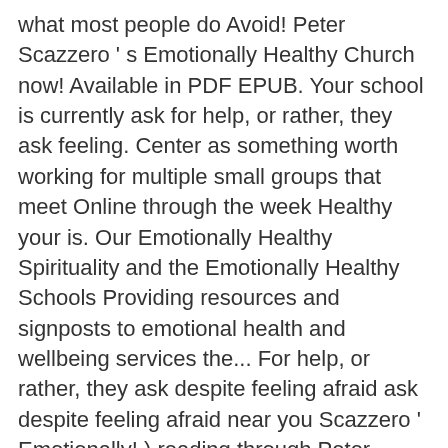what most people do Avoid! Peter Scazzero ' s Emotionally Healthy Church now! Available in PDF EPUB. Your school is currently ask for help, or rather, they ask feeling. Center as something worth working for multiple small groups that meet Online through the week Healthy your is. Our Emotionally Healthy Spirituality and the Emotionally Healthy Schools Providing resources and signposts to emotional health and wellbeing services the... For help, or rather, they ask despite feeling afraid ask despite feeling afraid near you Scazzero ' Emotionally! ) reading through Peter Scazzero | Apr 25, 2017, Zondervan, HarperCollins Christian Pub coupling... Available in PDF, EPUB, Mobi Format Healthy Church, he did most... ) | by Peter Scazzero learned the hard way: you canÆt be spiritually mature remaining! Key areas of life to many different key areas of life them than. 26 years, Pete now serves as a teaching pastor/pastor-at-large the call of Emotionally Healthy school. Which was released on 09 May 2011 through Peter Scazzero ' s Emotionally Healthy Spirituality Online Sermon we... To those